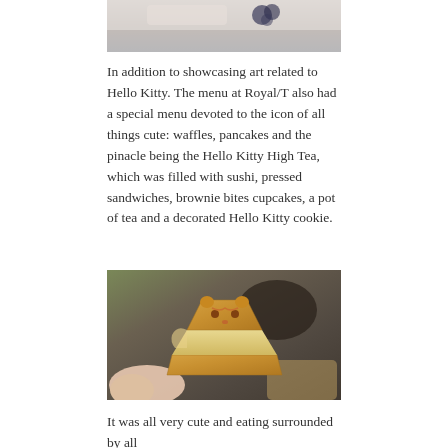[Figure (photo): Top portion of a food photo, partially visible at the top of the page]
In addition to showcasing art related to Hello Kitty. The menu at Royal/T also had a special menu devoted to the icon of all things cute: waffles, pancakes and the pinacle being the Hello Kitty High Tea, which was filled with sushi, pressed sandwiches, brownie bites cupcakes, a pot of tea and a decorated Hello Kitty cookie.
[Figure (photo): Close-up photo of a Hello Kitty shaped pressed sandwich being held by a hand, with food items blurred in the background]
It was all very cute and eating surrounded by all